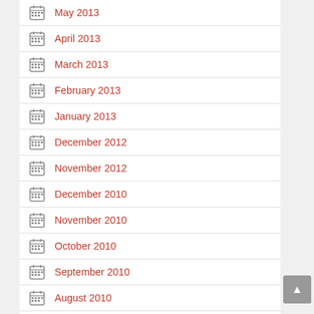May 2013
April 2013
March 2013
February 2013
January 2013
December 2012
November 2012
December 2010
November 2010
October 2010
September 2010
August 2010
July 2010
June 2010
May 2010
April 2010
March 2010